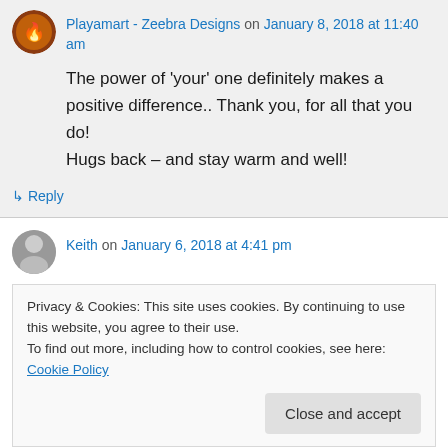Playamart - Zeebra Designs on January 8, 2018 at 11:40 am
The power of 'your' one definitely makes a positive difference.. Thank you, for all that you do!
Hugs back – and stay warm and well!
↳ Reply
Keith on January 6, 2018 at 4:41 pm
Privacy & Cookies: This site uses cookies. By continuing to use this website, you agree to their use.
To find out more, including how to control cookies, see here: Cookie Policy
Close and accept
↳ Reply